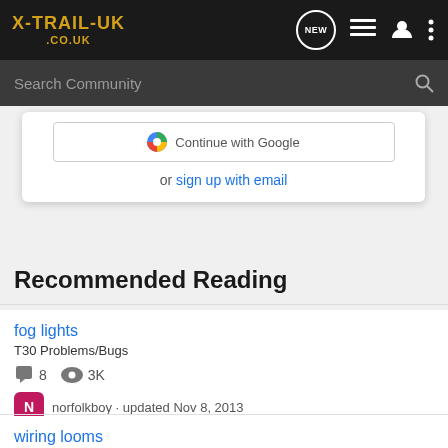X-TRAIL-UK .CO.UK
Search Community
Continue with Google
or sign up with email
Recommended Reading
fog lights
T30 Problems/Bugs
8  3K
norfolkboy · updated Nov 8, 2013
wiring looms